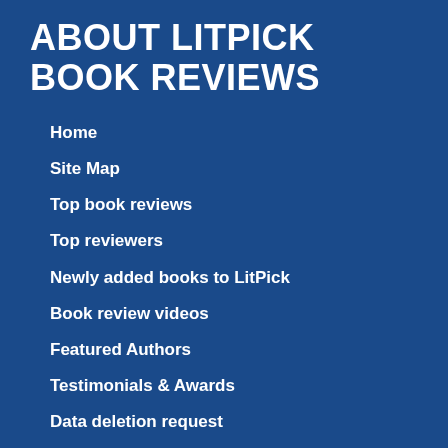ABOUT LITPICK BOOK REVIEWS
Home
Site Map
Top book reviews
Top reviewers
Newly added books to LitPick
Book review videos
Featured  Authors
Testimonials & Awards
Data deletion request
Terms & Privacy policy